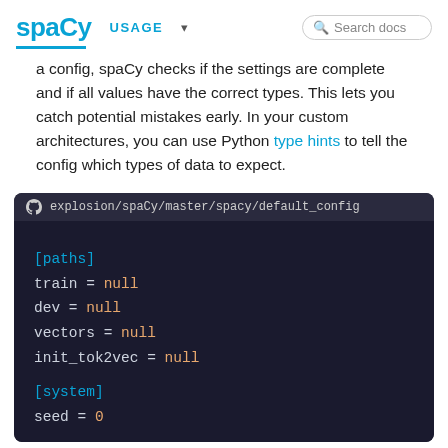spaCy USAGE ▼ 🔍 Search docs
a config, spaCy checks if the settings are complete and if all values have the correct types. This lets you catch potential mistakes early. In your custom architectures, you can use Python type hints to tell the config which types of data to expect.
[Figure (screenshot): Code block showing spaCy default config file from explosion/spaCy/master/spacy/default_config with sections [paths] (train=null, dev=null, vectors=null, init_tok2vec=null) and [system] (seed=0)]